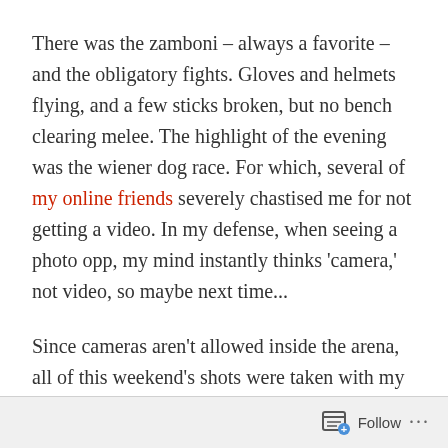There was the zamboni – always a favorite – and the obligatory fights. Gloves and helmets flying, and a few sticks broken, but no bench clearing melee. The highlight of the evening was the wiener dog race. For which, several of my online friends severely chastised me for not getting a video. In my defense, when seeing a photo opp, my mind instantly thinks 'camera,' not video, so maybe next time...
Since cameras aren't allowed inside the arena, all of this weekend's shots were taken with my iPhone. Not the best quality, but still some fun memories of a great evening. An added bonus
Follow ...